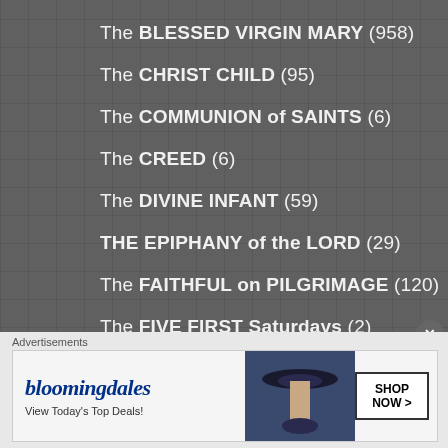The BLESSED VIRGIN MARY (958)
The CHRIST CHILD (95)
The COMMUNION of SAINTS (6)
The CREED (6)
The DIVINE INFANT (59)
THE EPIPHANY of the LORD (29)
The FAITHFUL on PILGRIMAGE (120)
The FIVE FIRST Saturdays (2)
THE FIVE FIRST SATURDAYS DEVOTION (1)
The FLIGHT into EQYPT (5)
The FOUR CARDINAL VIRTUES (12)
Advertisements
[Figure (photo): Bloomingdale's advertisement banner with text 'View Today's Top Deals!' and 'SHOP NOW >' button, featuring a woman wearing a large brim hat]